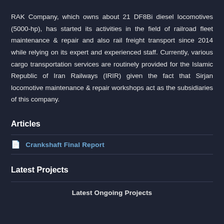RAK Company, which owns about 21 DF8Bi diesel locomotives (5000-hp), has started its activities in the field of railroad fleet maintenance & repair and also rail freight transport since 2014 while relying on its expert and experienced staff. Currently, various cargo transportation services are routinely provided for the Islamic Republic of Iran Railways (IRIR) given the fact that Sirjan locomotive maintenance & repair workshops act as the subsidiaries of this company.
Articles
Crankshaft Final Report
Latest Projects
Latest Ongoing Projects